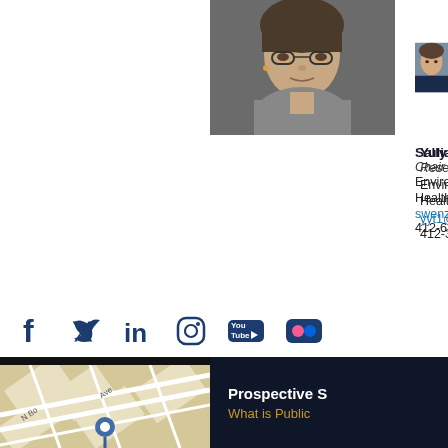[Figure (photo): Headshot of Yulia Y Tyurina, woman with glasses and gray scarf against dark background]
Yulia Y Tyurina, PhD
Research Professor
Environmental and Occupational Health
yyt1@pitt.edu
412-383-5099
[Figure (photo): Partial headshot of Sally E W, person in dark suit against light background]
Sally E W
Chair
Environmental and Occupational Health
swenzel@
412-624-9
[Figure (infographic): Social media icons: Facebook, Twitter, LinkedIn, Instagram, YouTube, Flickr]
[Figure (map): Street map showing N Bo... Ave area with location pin marker]
Prospective S
What is Public